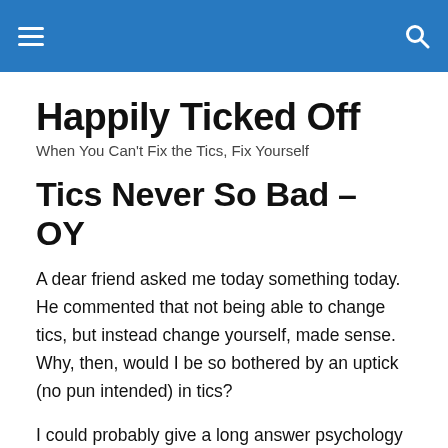Happily Ticked Off
When You Can't Fix the Tics, Fix Yourself
Tics Never So Bad – OY
A dear friend asked me today something today. He commented that not being able to change tics, but instead change yourself, made sense. Why, then, would I be so bothered by an uptick (no pun intended) in tics?
I could probably give a long answer psychology wise on why this is so, but I am too tired tonight. Instead, let me ask you: Why do tics bug you so much? Is it you are afraid